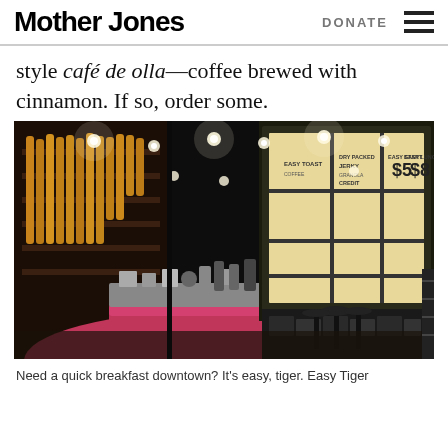Mother Jones | DONATE
style café de olla—coffee brewed with cinnamon. If so, order some.
[Figure (photo): Interior of Easy Tiger restaurant/bakery showing a dark-ceilinged space with a curved red/pink counter, baked goods on wall shelves, large industrial windows with a backlit menu board showing prices like $5 and $8, and bar stools.]
Need a quick breakfast downtown? It's easy, tiger. Easy Tiger